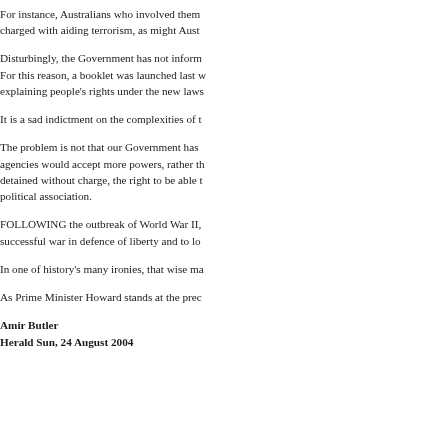For instance, Australians who involved them charged with aiding terrorism, as might Aust
Disturbingly, the Government has not inform For this reason, a booklet was launched last w explaining people's rights under the new laws
It is a sad indictment on the complexities of t
The problem is not that our Government has agencies would accept more powers, rather th detained without charge, the right to be able t political association.
FOLLOWING the outbreak of World War II, successful war in defence of liberty and to lo
In one of history's many ironies, that wise ma
As Prime Minister Howard stands at the prec
Amir Butler
Herald Sun, 24 August 2004